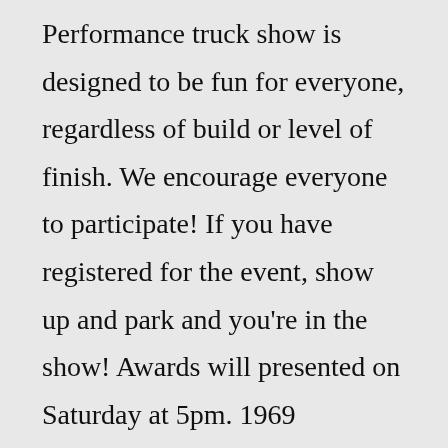Performance truck show is designed to be fun for everyone, regardless of build or level of finish. We encourage everyone to participate! If you have registered for the event, show up and park and you're in the show! Awards will presented on Saturday at 5pm. 1969 Chevrolet C-10 Custom 4x4 $7,600.00 19 bids 5d 15h Local Pickup 1971 CHEVY C-10 1971 CHEVROLET C-10 $44,500.00 Local Pickup or Best Offer